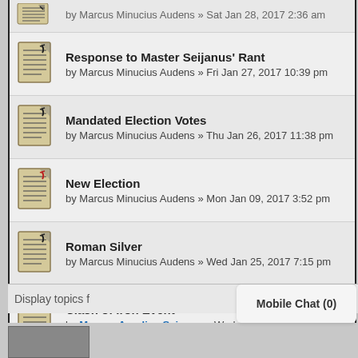by Marcus Minucius Audens » Sat Jan 28, 2017 2:36 am
Response to Master Seijanus' Rant
by Marcus Minucius Audens » Fri Jan 27, 2017 10:39 pm
Mandated Election Votes
by Marcus Minucius Audens » Thu Jan 26, 2017 11:38 pm
New Election
by Marcus Minucius Audens » Mon Jan 09, 2017 3:52 pm
Roman Silver
by Marcus Minucius Audens » Wed Jan 25, 2017 7:15 pm
Clash of Iron Event
by Marcus Aurelius Seianus » Wed Jan 25, 2017 3:06 pm
Legions of the Crisis
by Marcus Minucius Audens » Tue Jan 24, 2017 3:26 pm
Display topics f
Mobile Chat (0)